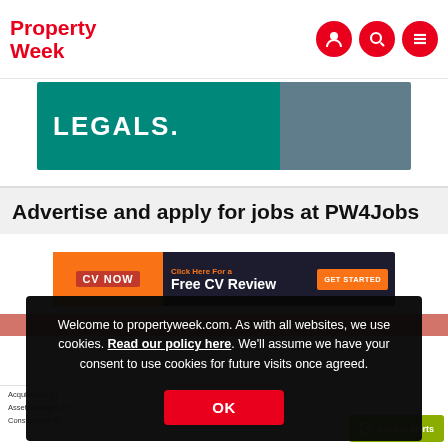Property Week — navigation header with user, search, and menu icons
[Figure (screenshot): Banner advertisement showing text 'LEGALS.' on a teal background with a figure in a grey jacket]
Advertise and apply for jobs at PW4Jobs
[Figure (screenshot): CV Now banner: 'Click Here For a Free CV Review' with GET STARTED button on dark background]
Welcome to propertyweek.com. As with all websites, we use cookies. Read our policy here. We'll assume we have your consent to use cookies for future visits once agreed.
OK
Acquisitions 11
Asset Manager 10
Construction 21
Property Management 65
Surveyor - Agency 9
Surveyor - Building 44
Get job alerts